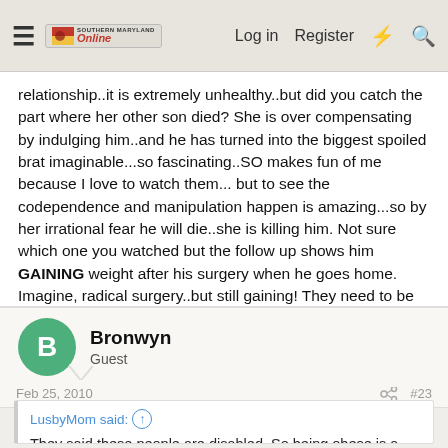Southern Maryland Online — Log in | Register
relationship..it is extremely unhealthy..but did you catch the part where her other son died? She is over compensating by indulging him..and he has turned into the biggest spoiled brat imaginable...so fascinating..SO makes fun of me because I love to watch them... but to see the codependence and manipulation happen is amazing...so by her irrational fear he will die..she is killing him. Not sure which one you watched but the follow up shows him GAINING weight after his surgery when he goes home. Imagine, radical surgery..but still gaining! They need to be far away from each other, and quick.
Bronwyn
Guest
Feb 25, 2010
#23
LusbyMom said: They said these people are disabled. So being obese is a disability